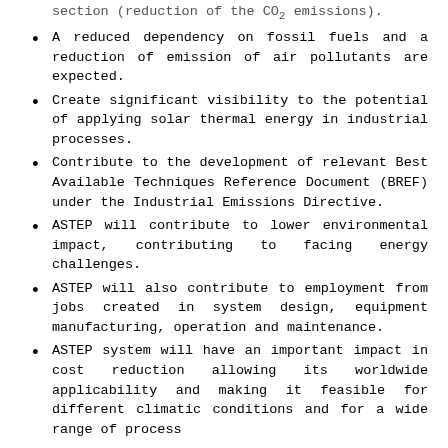A reduced dependency on fossil fuels and a reduction of emission of air pollutants are expected.
Create significant visibility to the potential of applying solar thermal energy in industrial processes.
Contribute to the development of relevant Best Available Techniques Reference Document (BREF) under the Industrial Emissions Directive.
ASTEP will contribute to lower environmental impact, contributing to facing energy challenges.
ASTEP will also contribute to employment from jobs created in system design, equipment manufacturing, operation and maintenance.
ASTEP system will have an important impact in cost reduction allowing its worldwide applicability and making it feasible for different climatic conditions and for a wide range of process